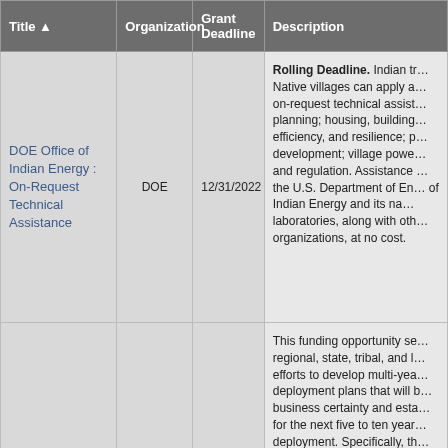| Title ▲ | Organization | Grant Deadline | Description |
| --- | --- | --- | --- |
| DOE Office of Indian Energy : On-Request Technical Assistance | DOE | 12/31/2022 | Rolling Deadline. Indian tribes and Alaska Native villages can apply at any time for on-request technical assistance including: planning; housing, building, energy efficiency, and resilience; project development; village power systems; and regulation. Assistance is provided by the U.S. Department of Energy's Office of Indian Energy and its national laboratories, along with other partner organizations, at no cost. |
|  |  |  | This funding opportunity seeks to help regional, state, tribal, and local efforts to develop multi-year deployment plans that will build business certainty and establish goals for the next five to ten years of deployment. Specifically, the FOA is intended to enable replicable strategies that spur significant deployment, drive down... |